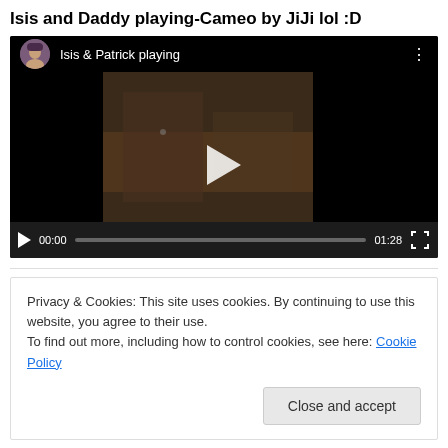Isis and Daddy playing-Cameo by JiJi lol :D
[Figure (screenshot): Embedded video player showing 'Isis & Patrick playing' with a dark thumbnail, play button overlay, and video controls showing 00:00 / 01:28]
Privacy & Cookies: This site uses cookies. By continuing to use this website, you agree to their use.
To find out more, including how to control cookies, see here: Cookie Policy
Close and accept